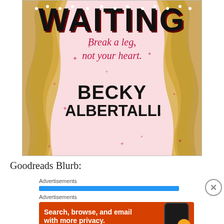[Figure (illustration): Book cover for a novel showing the word WAITING in large bold letters with marquee-style dots, tagline 'Break a leg, not your heart.' in pink italic script, and author name BECKY ALBERTALLI in bold black. Pink background with illustrated golden flowing hair on both sides and pink star decorations.]
Goodreads Blurb:
[Figure (screenshot): Advertisement section with label 'Advertisements', a blue progress/loading bar below it, and a close button (X in circle) to the right.]
[Figure (screenshot): Advertisement banner with label 'Advertisements' and an orange ad reading 'Search, browse, and email with more privacy.' with a phone image and DuckDuckGo duck logo.]